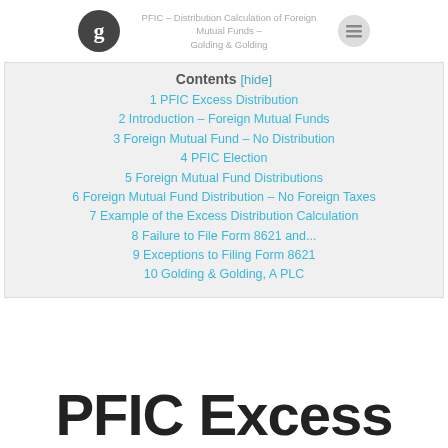PFIC – Distribution Calculation of Foreign Mutual Funds – Golding & Golding
Contents [hide]
1 PFIC Excess Distribution
2 Introduction – Foreign Mutual Funds
3 Foreign Mutual Fund – No Distribution
4 PFIC Election
5 Foreign Mutual Fund Distributions
6 Foreign Mutual Fund Distribution – No Foreign Taxes
7 Example of the Excess Distribution Calculation
8 Failure to File Form 8621 and...
9 Exceptions to Filing Form 8621
10 Golding & Golding, A PLC
PFIC Excess